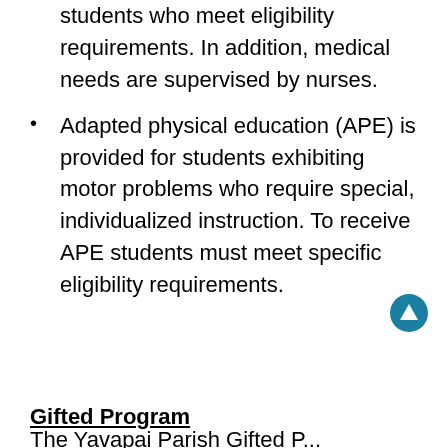students who meet eligibility requirements. In addition, medical needs are supervised by nurses.
Adapted physical education (APE) is provided for students exhibiting motor problems who require special, individualized instruction. To receive APE students must meet specific eligibility requirements.
Gifted Program
The Yavapai Parish Gifted P...